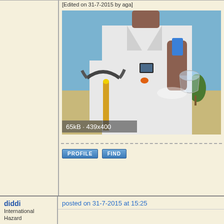[Edited on 31-7-2015 by aga]
[Figure (photo): Person in white lab coat holding a pickaxe in one hand and a lighter near a glass in the other hand, outdoors. Image size label: 65kB · 439x400]
PROFILE   FIND
diddi
International Hazard
★★★★★
posted on 31-7-2015 at 15:25